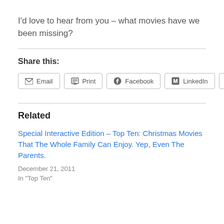I'd love to hear from you – what movies have we been missing?
Share this:
Email | Print | Facebook | LinkedIn | Twitter
Related
Special Interactive Edition – Top Ten: Christmas Movies That The Whole Family Can Enjoy. Yep, Even The Parents.
December 21, 2011
In "Top Ten"